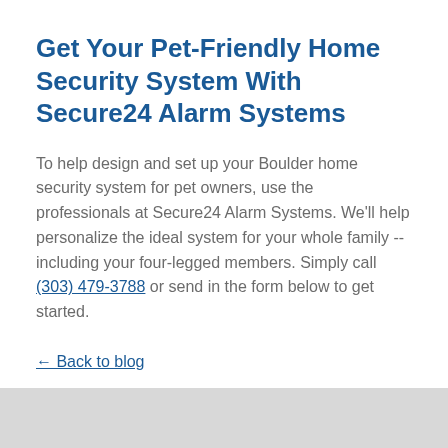Get Your Pet-Friendly Home Security System With Secure24 Alarm Systems
To help design and set up your Boulder home security system for pet owners, use the professionals at Secure24 Alarm Systems. We'll help personalize the ideal system for your whole family -- including your four-legged members. Simply call (303) 479-3788 or send in the form below to get started.
← Back to blog